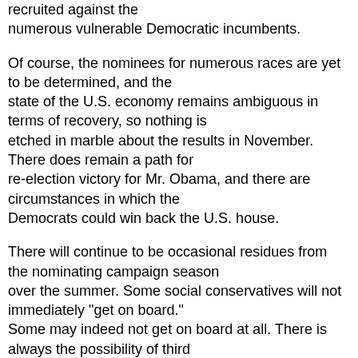recruited against the numerous vulnerable Democratic incumbents.
Of course, the nominees for numerous races are yet to be determined, and the state of the U.S. economy remains ambiguous in terms of recovery, so nothing is etched in marble about the results in November. There does remain a path for re-election victory for Mr. Obama, and there are circumstances in which the Democrats could win back the U.S. house.
There will continue to be occasional residues from the nominating campaign season over the summer. Some social conservatives will not immediately "get on board." Some may indeed not get on board at all. There is always the possibility of third party candidates, but the prospects of a serious one from either the left or the right has been diminished.